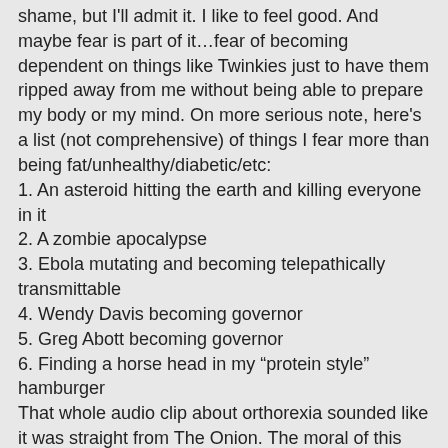shame, but I'll admit it. I like to feel good. And maybe fear is part of it…fear of becoming dependent on things like Twinkies just to have them ripped away from me without being able to prepare my body or my mind. On more serious note, here's a list (not comprehensive) of things I fear more than being fat/unhealthy/diabetic/etc:
1. An asteroid hitting the earth and killing everyone in it
2. A zombie apocalypse
3. Ebola mutating and becoming telepathically transmittable
4. Wendy Davis becoming governor
5. Greg Abott becoming governor
6. Finding a horse head in my “protein style” hamburger
That whole audio clip about orthorexia sounded like it was straight from The Onion. The moral of this story is that we should all splurge. Defensive driving all the time? Nonsense! Live a little! Close your eyes! Being aware of your surroundings? Lame! Let’s go to the ghetto and text while walking down a dark alley! Helping your kids be safe while crossing the street? Boring!! Tell them to run as fast as they can as soon as they see a car about 100 ft away! Life is better when you’re not so strict and obsessive.